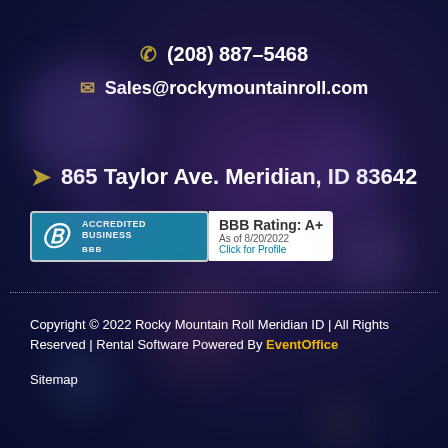📞 (208) 887-5468
✉ Sales@rockymountainroll.com
📍 865 Taylor Ave. Meridian, ID 83642
[Figure (logo): BBB Accredited Business badge with BBB Rating: A+, As of 8/20/2022, Click for Profile]
Copyright © 2022 Rocky Mountain Roll Meridian ID | All Rights Reserved | Rental Software Powered By EventOffice
Sitemap